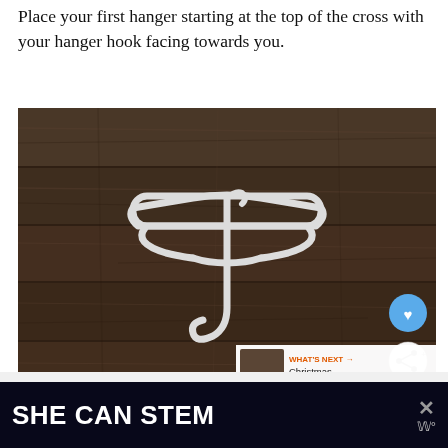Place your first hanger starting at the top of the cross with your hanger hook facing towards you.
[Figure (photo): A white plastic clothes hanger lying flat on a dark wood floor surface, with the hook pointing upward toward the viewer, photographed from above. Two circular UI buttons (heart/like and share) overlay the bottom right of the image. A 'What's Next' panel shows a thumbnail and text 'Christmas gnome wrea...']
[Figure (other): Advertisement banner with dark navy background, bold white text reading 'SHE CAN STEM', an X close button, and a small logo with antenna symbol]